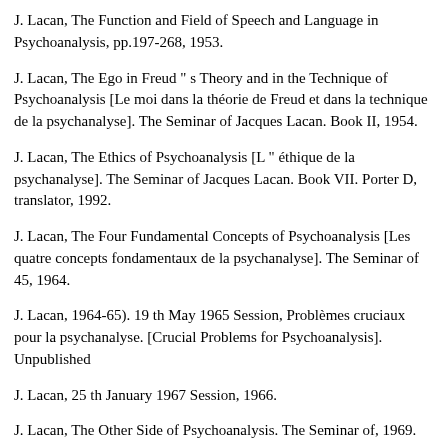J. Lacan, The Function and Field of Speech and Language in Psychoanalysis, pp.197-268, 1953.
J. Lacan, The Ego in Freud " s Theory and in the Technique of Psychoanalysis [Le moi dans la théorie de Freud et dans la technique de la psychanalyse]. The Seminar of Jacques Lacan. Book II, 1954.
J. Lacan, The Ethics of Psychoanalysis [L " éthique de la psychanalyse]. The Seminar of Jacques Lacan. Book VII. Porter D, translator, 1992.
J. Lacan, The Four Fundamental Concepts of Psychoanalysis [Les quatre concepts fondamentaux de la psychanalyse]. The Seminar of 45, 1964.
J. Lacan, 1964-65). 19 th May 1965 Session, Problèmes cruciaux pour la psychanalyse. [Crucial Problems for Psychoanalysis]. Unpublished
J. Lacan, 25 th January 1967 Session, 1966.
J. Lacan, The Other Side of Psychoanalysis. The Seminar of, 1969.
E. Porge, L " incroyance de Georg Cantor, 1996.